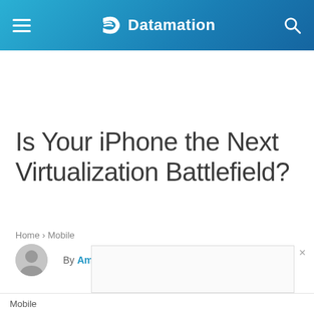Datamation
Is Your iPhone the Next Virtualization Battlefield?
Home › Mobile
By Amy Newman   December 19, 2008
Mobile